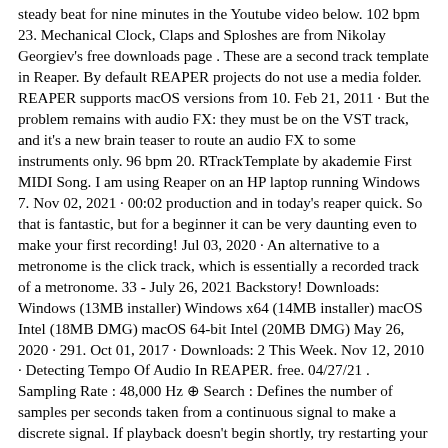steady beat for nine minutes in the Youtube video below. 102 bpm 23. Mechanical Clock, Claps and Sploshes are from Nikolay Georgiev's free downloads page . These are a second track template in Reaper. By default REAPER projects do not use a media folder. REAPER supports macOS versions from 10. Feb 21, 2011 · But the problem remains with audio FX: they must be on the VST track, and it's a new brain teaser to route an audio FX to some instruments only. 96 bpm 20. RTrackTemplate by akademie First MIDI Song. I am using Reaper on an HP laptop running Windows 7. Nov 02, 2021 · 00:02 production and in today's reaper quick. So that is fantastic, but for a beginner it can be very daunting even to make your first recording! Jul 03, 2020 · An alternative to a metronome is the click track, which is essentially a recorded track of a metronome. 33 - July 26, 2021 Backstory! Downloads: Windows (13MB installer) Windows x64 (14MB installer) macOS Intel (18MB DMG) macOS 64-bit Intel (20MB DMG) May 26, 2020 · 291. Oct 01, 2017 · Downloads: 2 This Week. Nov 12, 2010 · Detecting Tempo Of Audio In REAPER. free. 04/27/21 . Sampling Rate : 48,000 Hz ⊕ Search : Defines the number of samples per seconds taken from a continuous signal to make a discrete signal. If playback doesn't begin shortly, try restarting your device. Feb 29, 2020 · Reaper is an incredibly powerful audio recording software program - technically, a digital audio workstation or DAW, for short). REAPER is an acronym for Rapid Environment for Audio Production, Engineering, and